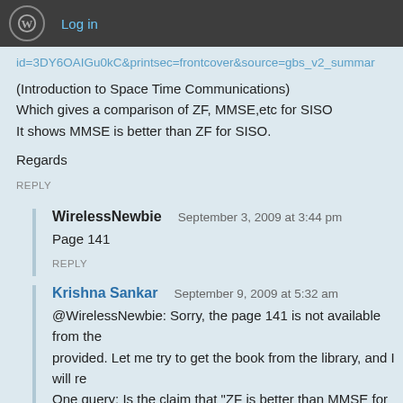Log in
id=3DY6OAIGu0kC&printsec=frontcover&source=gbs_v2_summar
(Introduction to Space Time Communications)
Which gives a comparison of ZF, MMSE,etc for SISO
It shows MMSE is better than ZF for SISO.
Regards
REPLY
WirelessNewbie   September 3, 2009 at 3:44 pm
Page 141
REPLY
Krishna Sankar   September 9, 2009 at 5:32 am
@WirelessNewbie: Sorry, the page 141 is not available from the provided. Let me try to get the book from the library, and I will re One query: Is the claim that "ZF is better than MMSE for SISO"